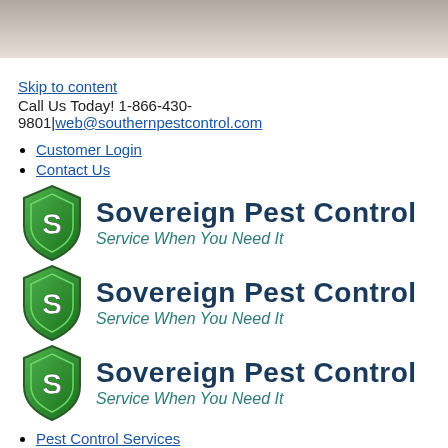[Figure (illustration): Gray gradient banner at top of page]
Skip to content
Call Us Today! 1-866-430-9801|web@southernpestcontrol.com
Customer Login
Contact Us
[Figure (logo): Sovereign Pest Control logo with green shield and text 'Service When You Need It' (first instance)]
[Figure (logo): Sovereign Pest Control logo with green shield and text 'Service When You Need It' (second instance)]
[Figure (logo): Sovereign Pest Control logo with green shield and text 'Service When You Need It' (third instance)]
Pest Control Services
Pest Control